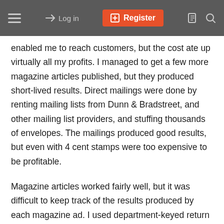Log in | Register
enabled me to reach customers, but the cost ate up virtually all my profits. I managed to get a few more magazine articles published, but they produced short-lived results. Direct mailings were done by renting mailing lists from Dunn & Bradstreet, and other mailing list providers, and stuffing thousands of envelopes. The mailings produced good results, but even with 4 cent stamps were too expensive to be profitable.
Magazine articles worked fairly well, but it was difficult to keep track of the results produced by each magazine ad. I used department-keyed return addresses to associate inquiries with a particular magazine issue. Since it was common practice to go out with a series of successively more attractive offers to prospective customers, it was necessary to maintain good records of who had received